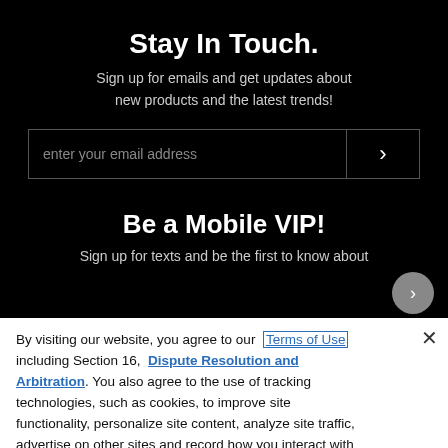Stay In Touch.
Sign up for emails and get updates about new products and the latest trends!
enter your email address
Be a Mobile VIP!
Sign up for texts and be the first to know about
By visiting our website, you agree to our Terms of Use including Section 16, Dispute Resolution and Arbitration. You also agree to the use of tracking technologies, such as cookies, to improve site functionality, personalize site content, analyze site traffic, advertise on other sites and record how you interact with our site. You can adjust how certain technologies are